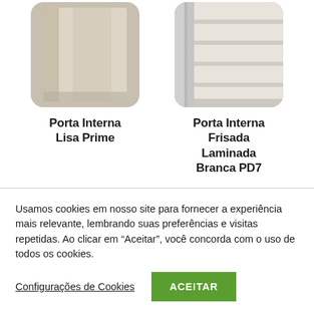[Figure (photo): Product image of Porta Interna Lisa Prime - a smooth flat internal door with rounded corners, beige/taupe color]
Porta Interna Lisa Prime
[Figure (photo): Product image of Porta Interna Frisada Laminada Branca PD7 - an internal door with horizontal frisa lines, white laminated finish, with chrome metallic side frame]
Porta Interna Frisada Laminada Branca PD7
Usamos cookies em nosso site para fornecer a experiência mais relevante, lembrando suas preferências e visitas repetidas. Ao clicar em “Aceitar”, você concorda com o uso de todos os cookies.
Configurações de Cookies
ACEITAR